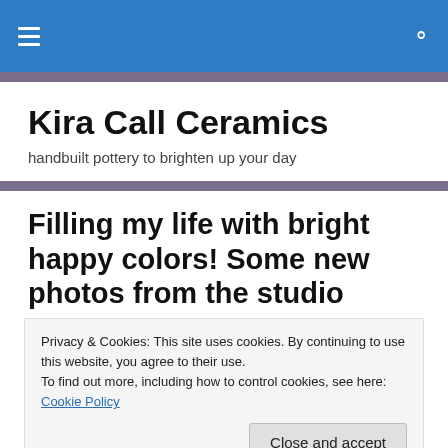≡  🔍
Kira Call Ceramics
handbuilt pottery to brighten up your day
Filling my life with bright happy colors! Some new photos from the studio
Privacy & Cookies: This site uses cookies. By continuing to use this website, you agree to their use.
To find out more, including how to control cookies, see here: Cookie Policy
[Figure (photo): Partial view of colorful ceramic pottery from the studio]